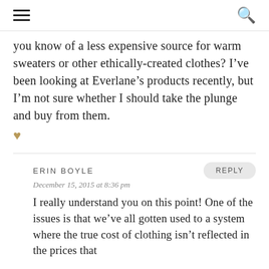≡  🔍
you know of a less expensive source for warm sweaters or other ethically-created clothes? I've been looking at Everlane's products recently, but I'm not sure whether I should take the plunge and buy from them. ♥
ERIN BOYLE
December 15, 2015 at 8:36 pm
I really understand you on this point! One of the issues is that we've all gotten used to a system where the true cost of clothing isn't reflected in the prices that